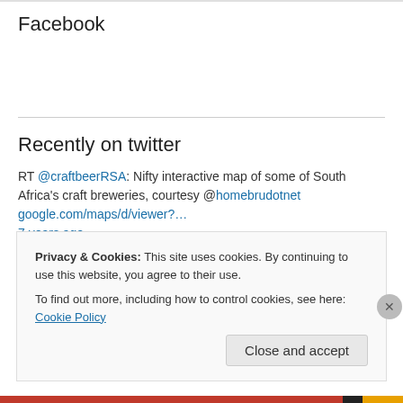Facebook
Recently on twitter
RT @craftbeerRSA: Nifty interactive map of some of South Africa's craft breweries, courtesy @homebrudotnet google.com/maps/d/viewer?… 7 years ago
Keep your eyes open for: Lilypatrick Craft Brewery in Stellenbosch and Stone Circle Brewery at Wembley Square 7 years ago
Privacy & Cookies: This site uses cookies. By continuing to use this website, you agree to their use.
To find out more, including how to control cookies, see here: Cookie Policy
Close and accept